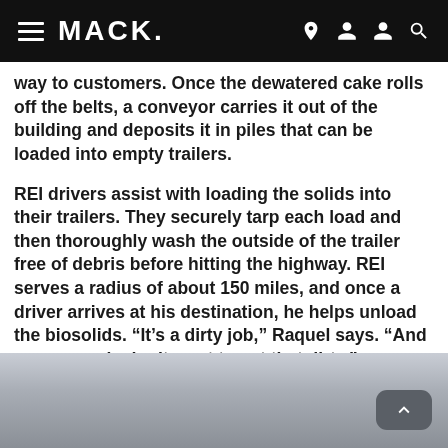MACK.
way to customers. Once the dewatered cake rolls off the belts, a conveyor carries it out of the building and deposits it in piles that can be loaded into empty trailers.
REI drivers assist with loading the solids into their trailers. They securely tarp each load and then thoroughly wash the outside of the trailer free of debris before hitting the highway. REI serves a radius of about 150 miles, and once a driver arrives at his destination, he helps unload the biosolids. “It’s a dirty job,” Raquel says. “And some people don’t want to get that dirty.”
[Figure (photo): Bottom portion of an outdoor photograph, sky and landscape, partially visible at bottom of page.]